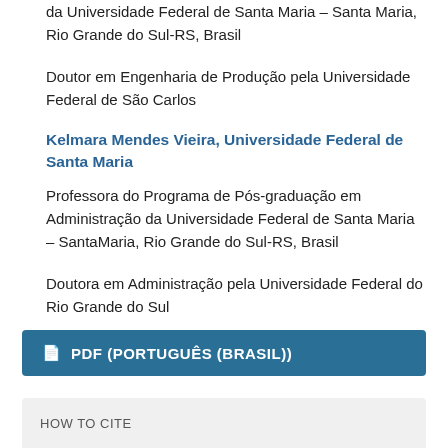da Universidade Federal de Santa Maria – Santa Maria, Rio Grande do Sul-RS, Brasil
Doutor em Engenharia de Produção pela Universidade Federal de São Carlos
Kelmara Mendes Vieira, Universidade Federal de Santa Maria
Professora do Programa de Pós-graduação em Administração da Universidade Federal de Santa Maria – SantaMaria, Rio Grande do Sul-RS, Brasil
Doutora em Administração pela Universidade Federal do Rio Grande do Sul
PDF (PORTUGUÊS (BRASIL))
HOW TO CITE